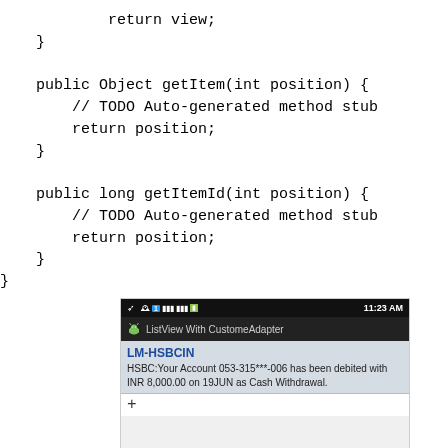return view;
    }

    public Object getItem(int position) {
        // TODO Auto-generated method stub
        return position;
    }

    public long getItemId(int position) {
        // TODO Auto-generated method stub
        return position;
    }
}
[Figure (screenshot): Android phone screenshot showing an app titled 'ListView With CustomeAdapter' with a notification from LM-HSBCIN: 'HSBC:Your Account 053-315***-006 has been debited with INR 8,000.00 on 19JUN as Cash Withdrawal.' Status bar shows 11:23 AM.]